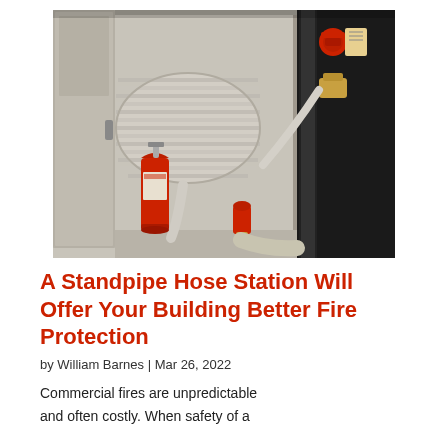[Figure (photo): An open fire hose station cabinet mounted on a wall. Inside the cabinet is a coiled beige/grey fire hose, a red fire extinguisher, a red nozzle, and brass pipe fittings and valves. The cabinet door is open to the left.]
A Standpipe Hose Station Will Offer Your Building Better Fire Protection
by William Barnes | Mar 26, 2022
Commercial fires are unpredictable and often costly. When safety of a